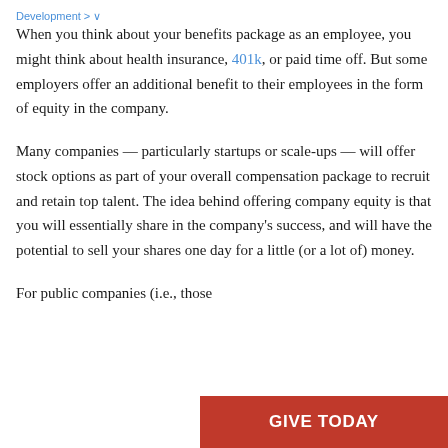Development
When you think about your benefits package as an employee, you might think about health insurance, 401k, or paid time off. But some employers offer an additional benefit to their employees in the form of equity in the company.
Many companies — particularly startups or scale-ups — will offer stock options as part of your overall compensation package to recruit and retain top talent. The idea behind offering company equity is that you will essentially share in the company's success, and will have the potential to sell your shares one day for a little (or a lot of) money.
For public companies (i.e., those
[Figure (other): Red 'GIVE TODAY' call-to-action button in bottom right corner]